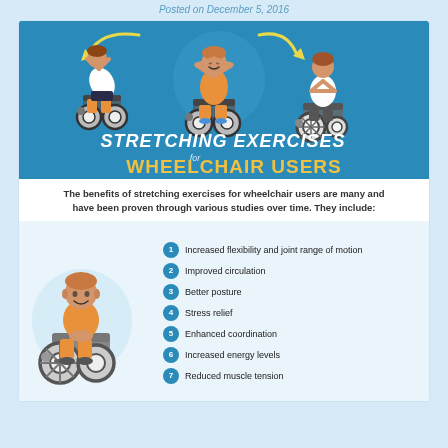Posted on December 5, 2016
[Figure (infographic): Stretching Exercises for Wheelchair Users infographic header showing three wheelchair users doing stretching exercises with arrows indicating movement. Title reads STRETCHING EXERCISES for WHEELCHAIR USERS on blue background.]
The benefits of stretching exercises for wheelchair users are many and have been proven through various studies over time. They include:
[Figure (illustration): Illustration of a person in a wheelchair wearing an orange shirt, seated and smiling.]
Increased flexibility and joint range of motion
Improved circulation
Better posture
Stress relief
Enhanced coordination
Increased energy levels
Reduced muscle tension